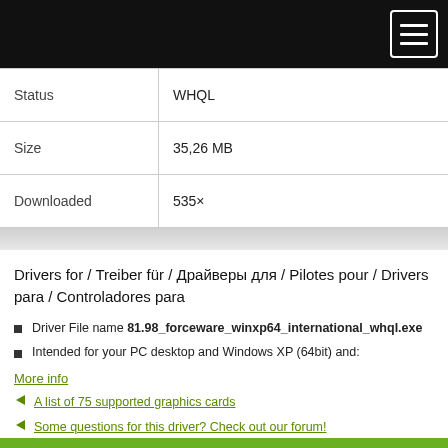| Status | WHQL |
| Size | 35,26 MB |
| Downloaded | 535× |
Drivers for / Treiber für / Драйверы для / Pilotes pour / Drivers para / Controladores para
Driver File name 81.98_forceware_winxp64_international_whql.exe
Intended for your PC desktop and Windows XP (64bit) and:
More info
A list of 75 supported graphics cards
Some questions for this driver? Check out our forum!
Download driver 81.98 from December '05